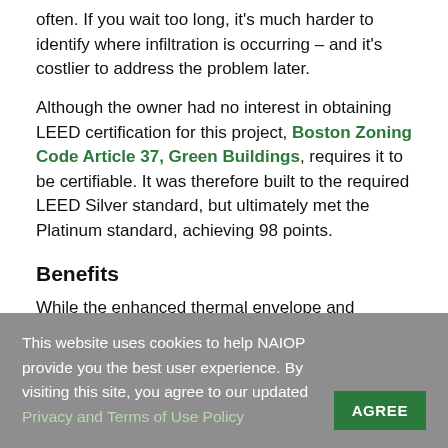often. If you wait too long, it's much harder to identify where infiltration is occurring – and it's costlier to address the problem later.
Although the owner had no interest in obtaining LEED certification for this project, Boston Zoning Code Article 37, Green Buildings, requires it to be certifiable. It was therefore built to the required LEED Silver standard, but ultimately met the Platinum standard, achieving 98 points.
Benefits
While the enhanced thermal envelope and detailing can be costly, this expense is offset by much reduced costs for
This website uses cookies to help NAIOP provide you the best user experience. By visiting this site, you agree to our updated Privacy and Terms of Use Policy